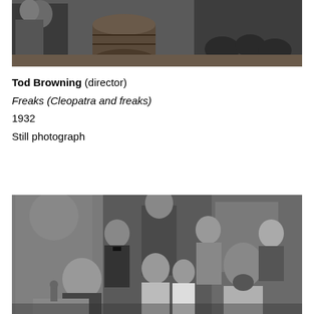[Figure (photo): Black and white still photograph from the film Freaks (1932), showing people with barrels in an outdoor scene - top portion of image cropped]
Tod Browning (director)
Freaks (Cleopatra and freaks)
1932
Still photograph
[Figure (photo): Black and white still photograph from the film Freaks (1932), showing a group of people including circus performers seated and standing together indoors]